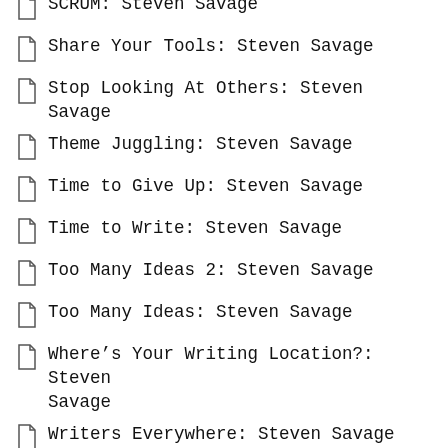SCRUM: Steven Savage
Share Your Tools: Steven Savage
Stop Looking At Others: Steven Savage
Theme Juggling: Steven Savage
Time to Give Up: Steven Savage
Time to Write: Steven Savage
Too Many Ideas 2: Steven Savage
Too Many Ideas: Steven Savage
Where’s Your Writing Location?: Steven Savage
Writers Everywhere: Steven Savage
Writing and the Cloud: Steven Savage
Writing Inspiration — Without Writing: Steven Savage